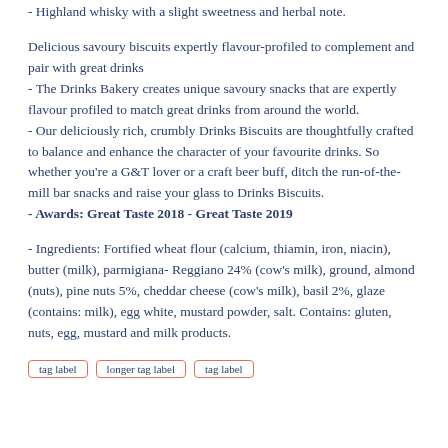- Highland whisky with a slight sweetness and herbal note.
Delicious savoury biscuits expertly flavour-profiled to complement and pair with great drinks
- The Drinks Bakery creates unique savoury snacks that are expertly flavour profiled to match great drinks from around the world.
- Our deliciously rich, crumbly Drinks Biscuits are thoughtfully crafted to balance and enhance the character of your favourite drinks. So whether you're a G&T lover or a craft beer buff, ditch the run-of-the-mill bar snacks and raise your glass to Drinks Biscuits.
- Awards: Great Taste 2018 - Great Taste 2019
- Ingredients: Fortified wheat flour (calcium, thiamin, iron, niacin), butter (milk), parmigiana- Reggiano 24% (cow's milk), ground, almond (nuts), pine nuts 5%, cheddar cheese (cow's milk), basil 2%, glaze (contains: milk), egg white, mustard powder, salt. Contains: gluten, nuts, egg, mustard and milk products.